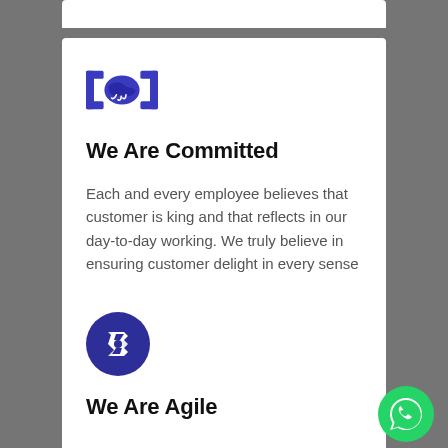[Figure (illustration): Handshake icon in dark blue/indigo, with bracket markers on left and right sides]
We Are Committed
Each and every employee believes that customer is king and that reflects in our day-to-day working. We truly believe in ensuring customer delight in every sense
[Figure (logo): Dark blue circle with white angular/code-like symbol inside (agile/GG logo)]
We Are Agile
[Figure (illustration): Green WhatsApp phone icon button in bottom right corner]